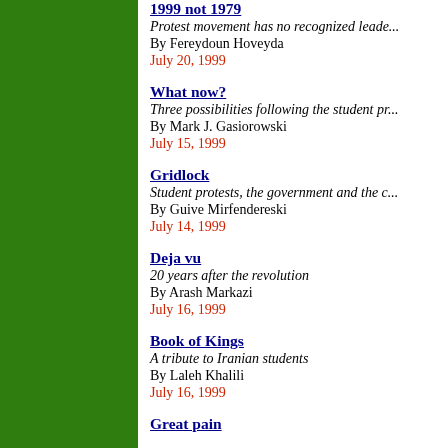1999 not 1979
Protest movement has no recognized leader
By Fereydoun Hoveyda
July 20, 1999
What now?
Three possibilities following the student pr
By Mark J. Gasiorowski
July 15, 1999
Gridlock
Student protests, the government and the c
By Guive Mirfendereski
July 14, 1999
Deja vu
20 years after the revolution
By Arash Markazi
July 16, 1999
Book of Kings
A tribute to Iranian students
By Laleh Khalili
July 16, 1999
Great pain